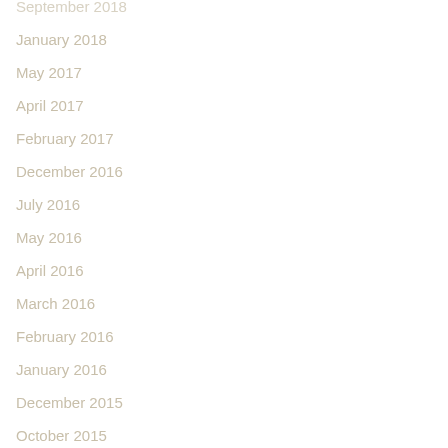September 2018
January 2018
May 2017
April 2017
February 2017
December 2016
July 2016
May 2016
April 2016
March 2016
February 2016
January 2016
December 2015
October 2015